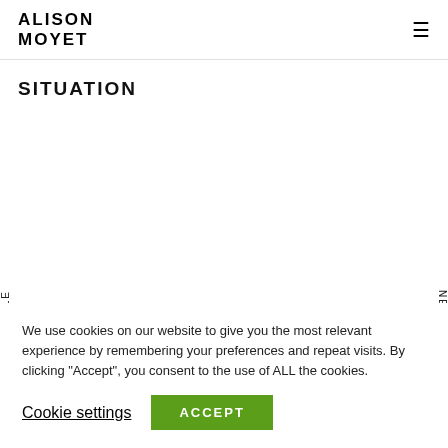ALISON MOYET
SITUATION
RTICLE
NEX
We use cookies on our website to give you the most relevant experience by remembering your preferences and repeat visits. By clicking "Accept", you consent to the use of ALL the cookies.
Cookie settings
ACCEPT